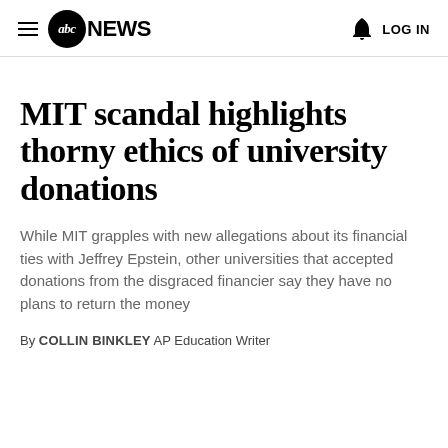abc NEWS   LOG IN
MIT scandal highlights thorny ethics of university donations
While MIT grapples with new allegations about its financial ties with Jeffrey Epstein, other universities that accepted donations from the disgraced financier say they have no plans to return the money
By COLLIN BINKLEY AP Education Writer